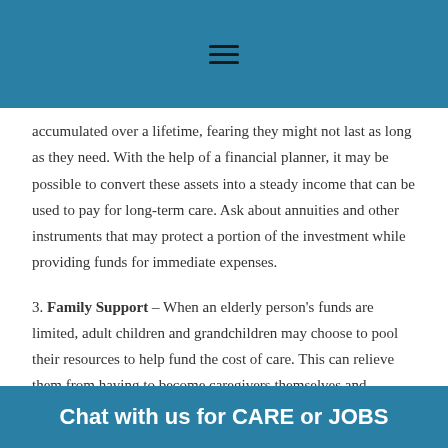accumulated over a lifetime, fearing they might not last as long as they need. With the help of a financial planner, it may be possible to convert these assets into a steady income that can be used to pay for long-term care. Ask about annuities and other instruments that may protect a portion of the investment while providing funds for immediate expenses.
3. Family Support – When an elderly person's funds are limited, adult children and grandchildren may choose to pool their resources to help fund the cost of care. This can relieve them from having to become caregivers themselves and...
Chat with us for CARE or JOBS